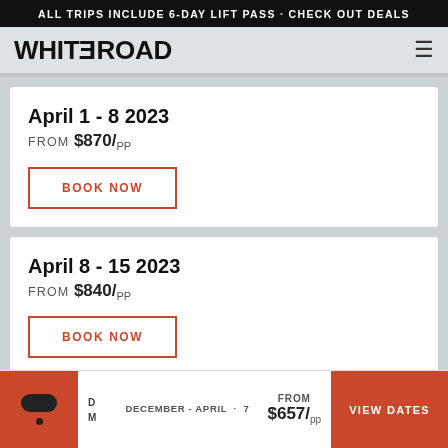ALL TRIPS INCLUDE 6-DAY LIFT PASS · CHECK OUT DEALS
[Figure (logo): WHITEROAD logo with hamburger menu icon]
April 1 - 8 2023
FROM $870/pp
BOOK NOW
April 8 - 15 2023
FROM $840/pp
BOOK NOW
DECEMBER - APRIL · 7   FROM $657/pp   VIEW DATES